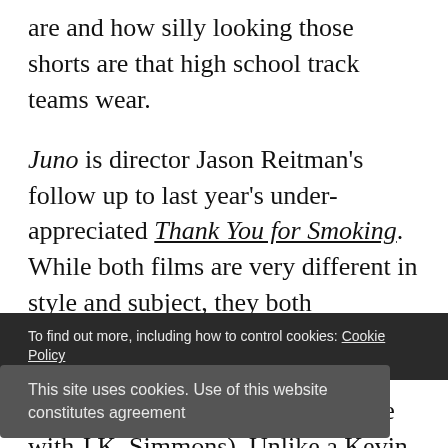about how the decisions we make shape who we are and how silly looking those shorts are that high school track teams wear.
Juno is director Jason Reitman's follow up to last year's under-appreciated Thank You for Smoking. While both films are very different in style and subject, they both entertainingly trample subject matter that most folks find uncomfortable (and, well, both films feature a role with J.K. Simmons). Unlike a Kevin Smith movie where all the main
To find out more, including how to control cookies: Cookie Policy
This site uses cookies. Use of this website constitutes agreement